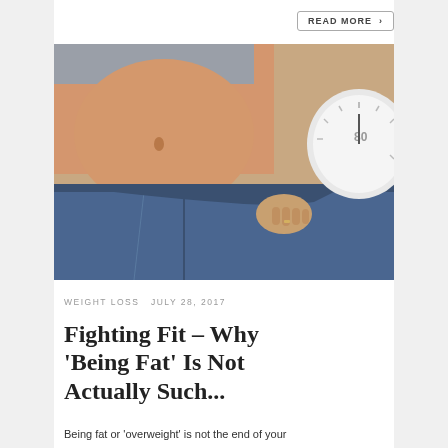READ MORE >
[Figure (photo): Person holding open oversized jeans waistband showing weight loss, with a bathroom scale visible on the right side]
WEIGHT LOSS  JULY 28, 2017
Fighting Fit – Why 'Being Fat' Is Not Actually Such...
Being fat or 'overweight' is not the end of your